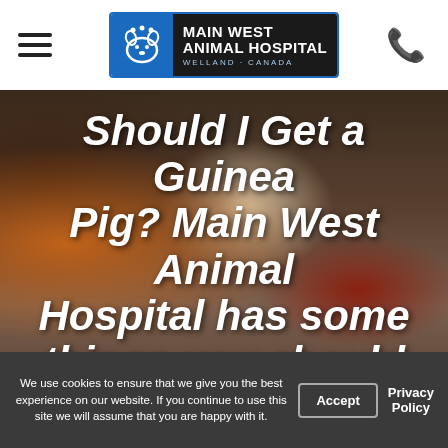[Figure (logo): Main West Animal Hospital logo with blue dog/cat icon and white text on dark background]
[Figure (photo): Background photo of a guinea pig with a carrot bag, a toy figure, on a table with dark background]
Should I Get a Guinea Pig? Main West Animal Hospital has some things you should consider
We use cookies to ensure that we give you the best experience on our website. If you continue to use this site we will assume that you are happy with it.